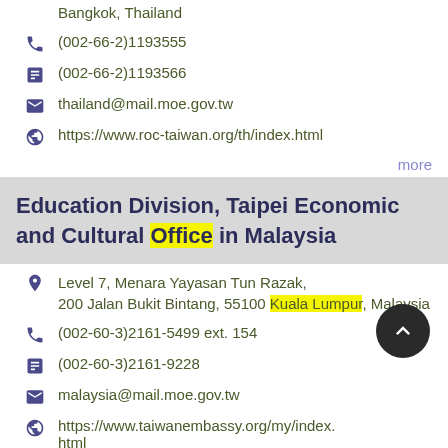Bangkok, Thailand
(002-66-2)1193555
(002-66-2)1193566
thailand@mail.moe.gov.tw
https://www.roc-taiwan.org/th/index.html
more
Education Division, Taipei Economic and Cultural Office in Malaysia
Level 7, Menara Yayasan Tun Razak, 200 Jalan Bukit Bintang, 55100 Kuala Lumpur, Malaysia
(002-60-3)2161-5499 ext. 154
(002-60-3)2161-9228
malaysia@mail.moe.gov.tw
https://www.taiwanembassy.org/my/index.html